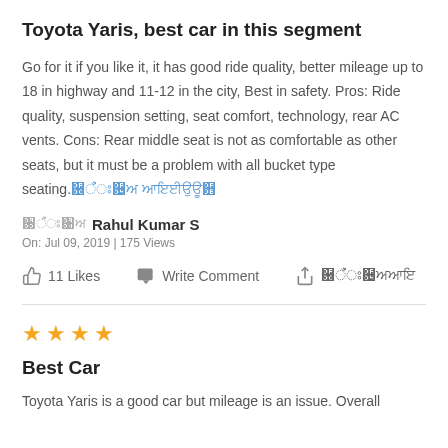Toyota Yaris, best car in this segment
Go for it if you like it, it has good ride quality, better mileage up to 18 in highway and 11-12 in the city, Best in safety. Pros: Ride quality, suspension setting, seat comfort, technology, rear AC vents. Cons: Rear middle seat is not as comfortable as other seats, but it must be a problem with all bucket type seating.
Rahul Kumar S
On: Jul 09, 2019 | 175 Views
11 Likes   Write Comment   Share
★★★★ Best Car
Toyota Yaris is a good car but mileage is an issue. Overall